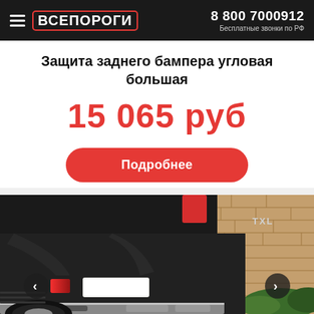ВСЕПОРОГИ | 8 800 7000912 | Бесплатные звонки по РФ
Защита заднего бампера угловая большая
15 065 руб
Подробнее
[Figure (photo): Photo of a black SUV from the rear, showing chrome rear bumper protector, red taillights, license plate area, and brick wall in background. Navigation arrows on left and right sides.]